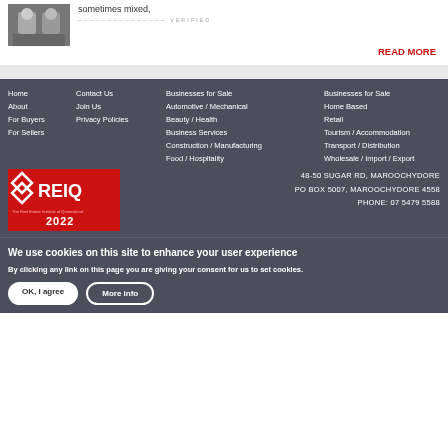[Figure (photo): Two people in professional attire, appears to be real estate agents]
sometimes mixed,
READ MORE
Home
About
For Buyers
For Sellers
Contact Us
Join Us
Privacy Policies
Businesses for Sale
Automotive / Mechanical
Beauty / Health
Business Services
Construction / Manufacturing
Food / Hospitality
Businesses for Sale
Home Based
Retail
Tourism / Accommodation
Transport / Distribution
Wholesale / Import / Export
[Figure (logo): REIQ logo - The Real Estate Institute of Queensland, 2022]
48-50 SUGAR RD, MAROOCHYDORE
PO BOX 5007, MAROOCHYDORE 4558
PHONE: 07 5479 5588
We use cookies on this site to enhance your user experience
By clicking any link on this page you are giving your consent for us to set cookies.
OK, I agree
More info